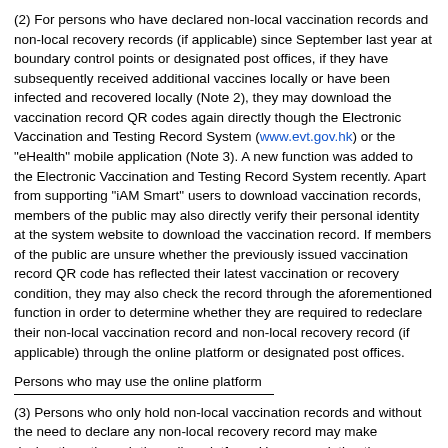(2) For persons who have declared non-local vaccination records and non-local recovery records (if applicable) since September last year at boundary control points or designated post offices, if they have subsequently received additional vaccines locally or have been infected and recovered locally (Note 2), they may download the vaccination record QR codes again directly though the Electronic Vaccination and Testing Record System (www.evt.gov.hk) or the "eHealth" mobile application (Note 3). A new function was added to the Electronic Vaccination and Testing Record System recently. Apart from supporting "iAM Smart" users to download vaccination records, members of the public may also directly verify their personal identity at the system website to download the vaccination record. If members of the public are unsure whether the previously issued vaccination record QR code has reflected their latest vaccination or recovery condition, they may also check the record through the aforementioned function in order to determine whether they are required to redeclare their non-local vaccination record and non-local recovery record (if applicable) through the online platform or designated post offices.
Persons who may use the online platform
(3) Persons who only hold non-local vaccination records and without the need to declare any non-local recovery record may make declarations through the online platform. Upon completing the declaration, they will be issued with the vaccination record QR codes. If the QR code is compliant with the respective vaccination requirements, it may be used for the Vaccine Pass.